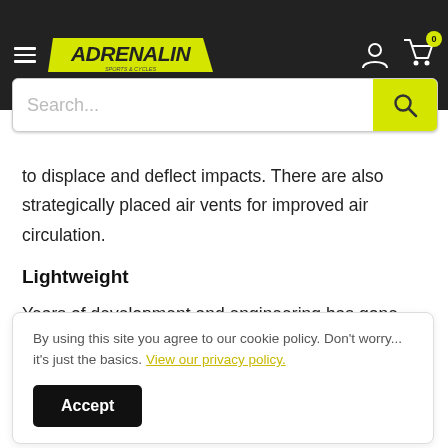Adrenalin [logo] Search... [cart icon]
to displace and deflect impacts. There are also strategically placed air vents for improved air circulation.
Lightweight
Years of development and engineering has gone into making this one of the most lightweight helmets on the market while at the same time preserving the elite level of protection that
By using this site you agree to our cookie policy. Don't worry... it's just the basics. View our privacy policy.
Accept